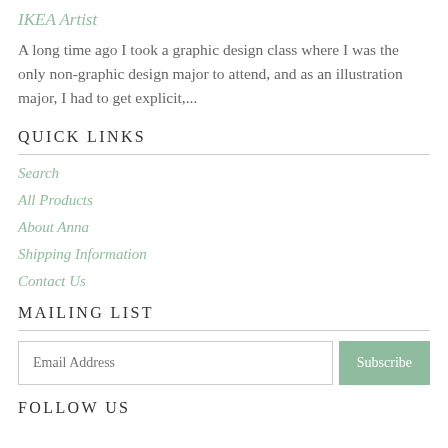IKEA Artist
A long time ago I took a graphic design class where I was the only non-graphic design major to attend, and as an illustration major, I had to get explicit,...
QUICK LINKS
Search
All Products
About Anna
Shipping Information
Contact Us
MAILING LIST
Email Address  [Subscribe]
FOLLOW US